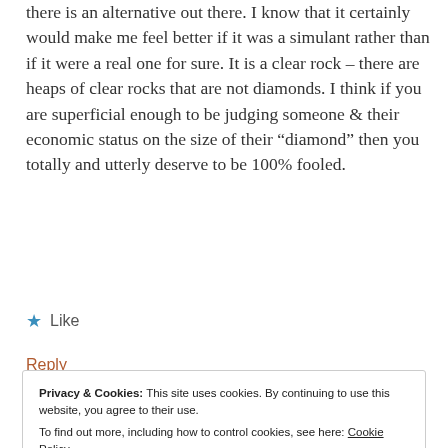there is an alternative out there. I know that it certainly would make me feel better if it was a simulant rather than if it were a real one for sure. It is a clear rock – there are heaps of clear rocks that are not diamonds. I think if you are superficial enough to be judging someone & their economic status on the size of their “diamond” then you totally and utterly deserve to be 100% fooled.
★ Like
Reply
Privacy & Cookies: This site uses cookies. By continuing to use this website, you agree to their use.
To find out more, including how to control cookies, see here: Cookie Policy
Close and accept